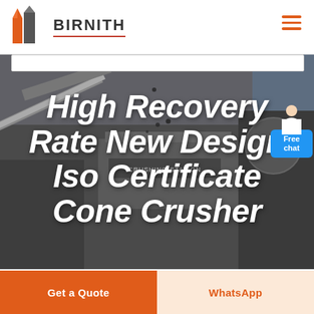[Figure (logo): Birnith company logo with orange building icon and brand name BIRNITH in dark letters with red underline]
[Figure (photo): Industrial crushing station machinery with conveyor belts and aggregate material being processed, dark/grey toned hero background image]
High Recovery Rate New Design Iso Certificate Cone Crusher
[Figure (infographic): Blue Free chat button with person avatar above it in top right corner]
Get a Quote
WhatsApp